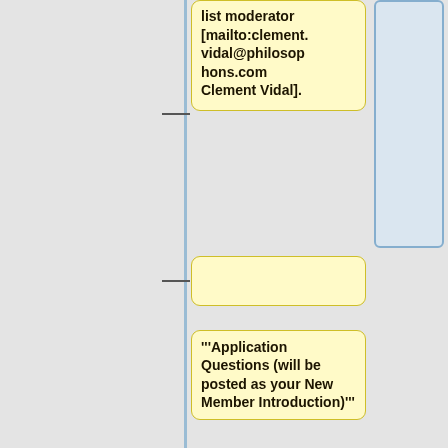list moderator [mailto:clement.vidal@philosophons.com Clement Vidal].
–
'''Application Questions (will be posted as your New Member Introduction)'''
# Name:
# Email address (to be used on Google Groups):
# City (or cities) and country (or